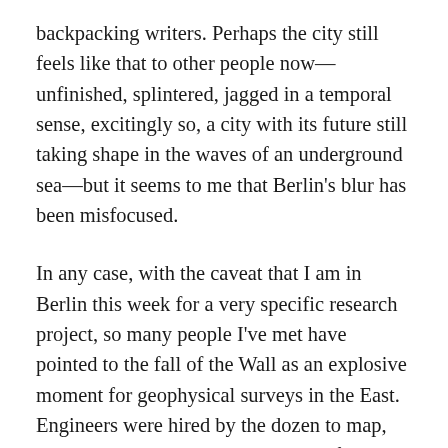backpacking writers. Perhaps the city still feels like that to other people now—unfinished, splintered, jagged in a temporal sense, excitingly so, a city with its future still taking shape in the waves of an underground sea—but it seems to me that Berlin's blur has been misfocused.
In any case, with the caveat that I am in Berlin this week for a very specific research project, so many people I've met have pointed to the fall of the Wall as an explosive moment for geophysical surveys in the East. Engineers were hired by the dozen to map, scan, and survey damaged ground left behind by a collapsed imperialist Empire, and the residues of history, its chemical spills and lost foundations, its military bunkers and archaeological remains, needed to be recorded. The ground itself was a